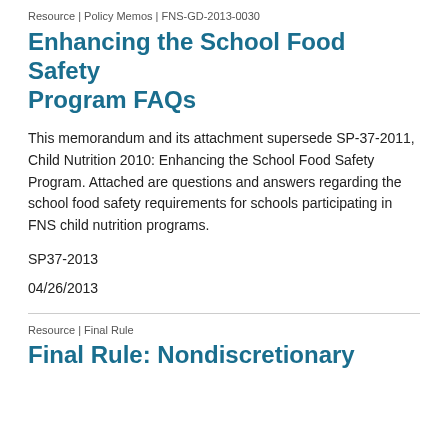Resource | Policy Memos | FNS-GD-2013-0030
Enhancing the School Food Safety Program FAQs
This memorandum and its attachment supersede SP-37-2011, Child Nutrition 2010: Enhancing the School Food Safety Program. Attached are questions and answers regarding the school food safety requirements for schools participating in FNS child nutrition programs.
SP37-2013
04/26/2013
Resource | Final Rule
Final Rule: Nondiscretionary